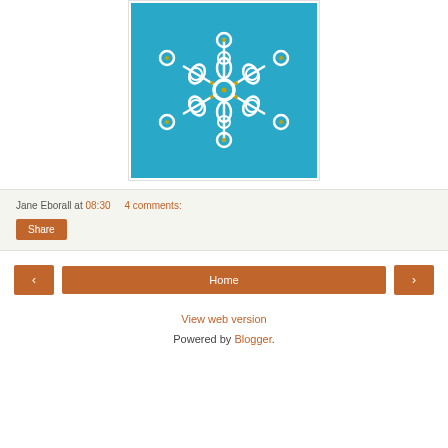[Figure (photo): White tatting lace snowflake with gold beads on a bright turquoise/teal blue background]
Jane Eborall at 08:30   4 comments:
Share
< Home >
View web version
Powered by Blogger.